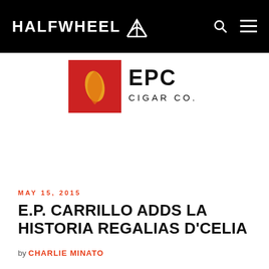HALFWHEEL
[Figure (logo): EPC Cigar Co. logo — red square with orange leaf/flame graphic, text 'EPC CIGAR CO.' in black]
MAY 15, 2015
E.P. CARRILLO ADDS LA HISTORIA REGALIAS D'CELIA
by CHARLIE MINATO